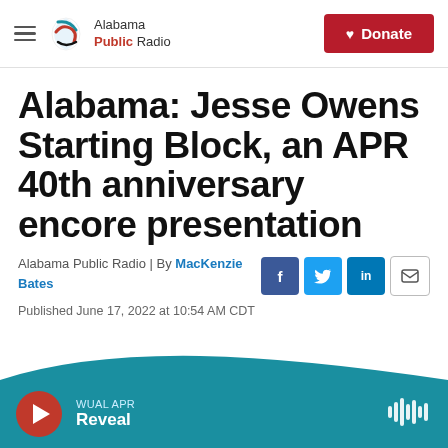Alabama Public Radio | Donate
Alabama: Jesse Owens Starting Block, an APR 40th anniversary encore presentation
Alabama Public Radio | By MacKenzie Bates
Published June 17, 2022 at 10:54 AM CDT
[Figure (other): Audio player bar showing WUAL APR Reveal program]
WUAL APR Reveal